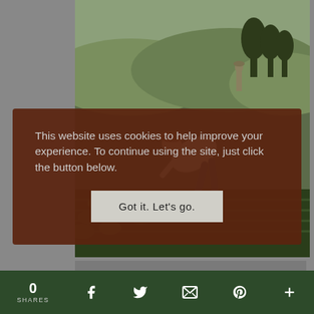[Figure (photo): A person bending over in a field of green plants/bulbs, with another person in the background, hills and trees visible, outdoor agricultural/garden scene at dusk or dawn.]
This website uses cookies to help improve your experience. To continue using the site, just click the button below.
Got it. Let's go.
Every one of our plants comes with something
0 SHARES  [Facebook]  [Twitter]  [Email]  [Pinterest]  [+]